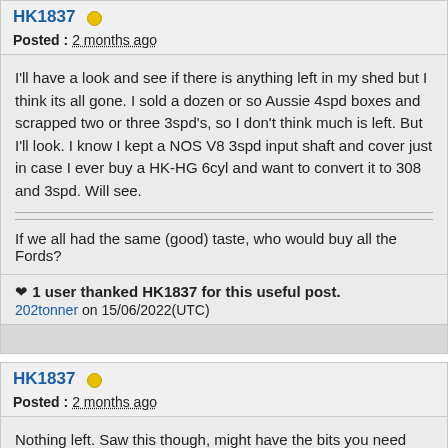HK1837
Posted : 2 months ago
I'll have a look and see if there is anything left in my shed but I think its all gone. I sold a dozen or so Aussie 4spd boxes and scrapped two or three 3spd's, so I don't think much is left. But I'll look. I know I kept a NOS V8 3spd input shaft and cover just in case I ever buy a HK-HG 6cyl and want to convert it to 308 and 3spd. Will see.
If we all had the same (good) taste, who would buy all the Fords?
❤ 1 user thanked HK1837 for this useful post.
202tonner on 15/06/2022(UTC)
HK1837
Posted : 2 months ago
Nothing left. Saw this though, might have the bits you need